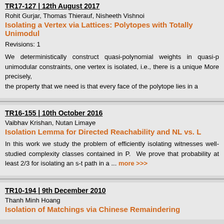TR17-127 | 12th August 2017
Rohit Gurjar, Thomas Thierauf, Nisheeth Vishnoi
Isolating a Vertex via Lattices: Polytopes with Totally Unimodul
Revisions: 1
We deterministically construct quasi-polynomial weights in quasi-p unimodular constraints, one vertex is isolated, i.e., there is a unique More precisely, the property that we need is that every face of the polytope lies in a...
TR16-155 | 10th October 2016
Vaibhav Krishan, Nutan Limaye
Isolation Lemma for Directed Reachability and NL vs. L
In this work we study the problem of efficiently isolating witnesses well-studied complexity classes contained in P. We prove that probability at least 2/3 for isolating an s-t path in a ... more >>>
TR10-194 | 9th December 2010
Thanh Minh Hoang
Isolation of Matchings via Chinese Remaindering